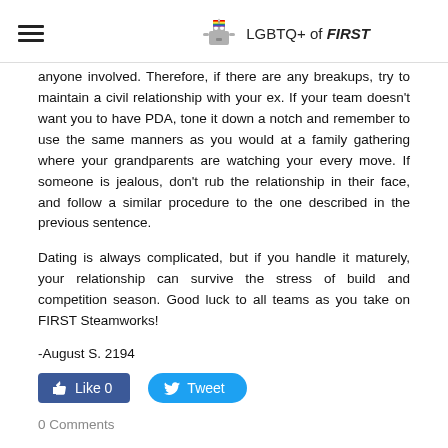LGBTQ+ of FIRST
anyone involved. Therefore, if there are any breakups, try to maintain a civil relationship with your ex. If your team doesn't want you to have PDA, tone it down a notch and remember to use the same manners as you would at a family gathering where your grandparents are watching your every move. If someone is jealous, don't rub the relationship in their face, and follow a similar procedure to the one described in the previous sentence.
Dating is always complicated, but if you handle it maturely, your relationship can survive the stress of build and competition season. Good luck to all teams as you take on FIRST Steamworks!
-August S. 2194
Like 0   Tweet
0 Comments